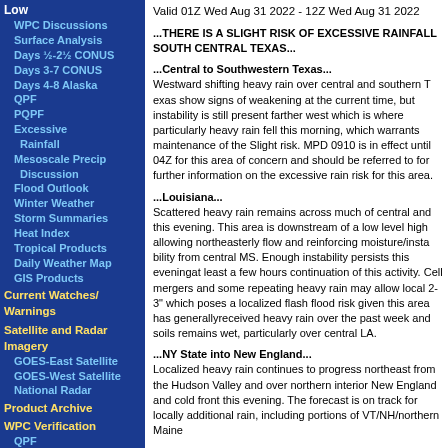Low
WPC Discussions
Surface Analysis
Days ½-2½ CONUS
Days 3-7 CONUS
Days 4-8 Alaska
QPF
PQPF
Excessive
Rainfall
Mesoscale Precip
Discussion
Flood Outlook
Winter Weather
Storm Summaries
Heat Index
Tropical Products
Daily Weather Map
GIS Products
Current Watches/ Warnings
Satellite and Radar Imagery
GOES-East Satellite
GOES-West Satellite
National Radar
Product Archive
WPC Verification
QPF
Medium Range
Model Diagnostics
Valid 01Z Wed Aug 31 2022 - 12Z Wed Aug 31 2022
...THERE IS A SLIGHT RISK OF EXCESSIVE RAINFALL SOUTH CENTRAL TEXAS...
...Central to Southwestern Texas...
Westward shifting heavy rain over central and southern Texas show signs of weakening at the current time, but instability is still present farther west which is where particularly heavy rain fell this morning, which warrants maintenance of the Slight risk. MPD 0910 is in effect until 04Z for this area of concern and should be referred to for further information on the excessive rain risk for this area.
...Louisiana...
Scattered heavy rain remains across much of central and this evening. This area is downstream of a low level high allowing northeasterly flow and reinforcing moisture/instability from central MS. Enough instability persists this evening for at least a few hours continuation of this activity. Cell mergers and some repeating heavy rain may allow local 2-3" which poses a localized flash flood risk given this area has generally received heavy rain over the past week and soils remain wet, particularly over central LA.
...NY State into New England...
Localized heavy rain continues to progress northeast from the Hudson Valley and over northern interior New England ahead of a cold front this evening. The forecast is on track for locally additional rain, including portions of VT/NH/northern Maine